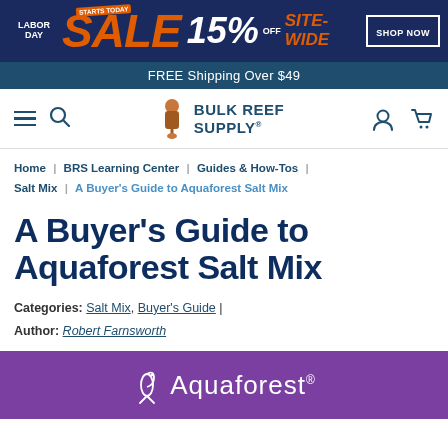[Figure (screenshot): Labor Day Sale banner ad: dark blue background with orange SALE text, 15% OFF, SITE-WIDE, SHOP NOW button, and 'STARTS TODAY' orange badge]
FREE Shipping Over $49
[Figure (logo): Bulk Reef Supply logo with mascot character, hamburger menu and search icons on left, user and cart icons on right]
Home | BRS Learning Center | Guides & How-Tos | Salt Mix | A Buyer's Guide to Aquaforest Salt Mix
A Buyer's Guide to Aquaforest Salt Mix
Categories: Salt Mix, Buyer's Guide | Author: Robert Farnsworth
[Figure (photo): Purple banner image with Aquaforest brand logo and seahorse icon in white]